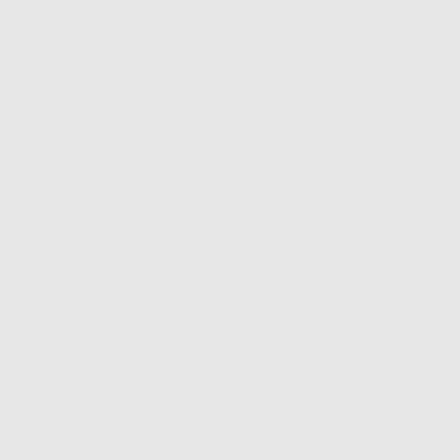Loading and handling requi... Packing, marking, and labe... Passenger-carrying aircraft, articles on, 14 $$ 49.10- Prohibited articles, 14 § 49. Lists of prohibited General operation rules, Fares. See Rates, fares, and Financial and statistical rep Fire prevention and control Airworthiness requirements Scheduled or nonscheduled etc., 14 $ $ 40.110-4 First-aid equipment, for air Flight instructor rating, for Flight operation rules: For nonscheduled air carrie For scheduled air carriers; i tinental limits of Unite